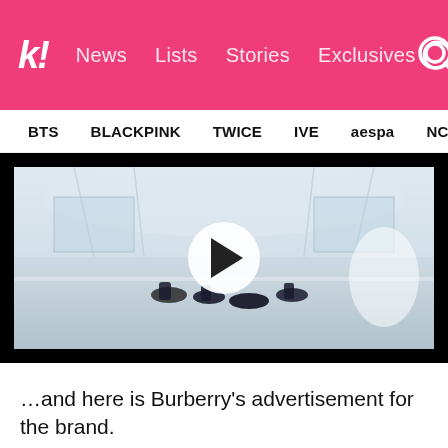k! News   Lists   Stories   Exclusives
BTS   BLACKPINK   TWICE   IVE   aespa   NCT   NewJ
[Figure (screenshot): Video player showing dancers performing in a glass-walled indoor space, with a white play button circle overlay in the center]
…and here is Burberry's advertisement for the brand.
[Figure (photo): Partial bottom image showing a street scene with buildings, pink-toned]